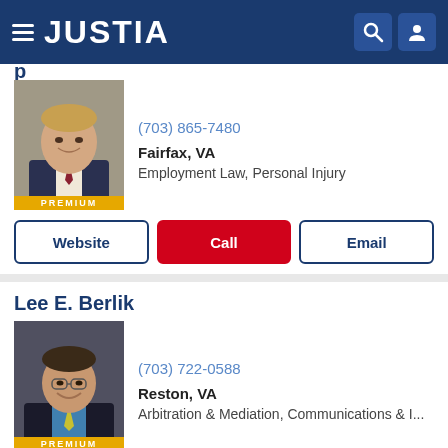JUSTIA
[Figure (photo): Professional headshot of a male attorney in a suit, smiling, with a PREMIUM badge below the photo]
(703) 865-7480
Fairfax, VA
Employment Law, Personal Injury
Website | Call | Email
Lee E. Berlik
[Figure (photo): Professional headshot of Lee E. Berlik, a male attorney wearing glasses and a suit with a yellow tie, smiling, with a PREMIUM badge below the photo]
(703) 722-0588
Reston, VA
Arbitration & Mediation, Communications & I...
Website | Call | Email